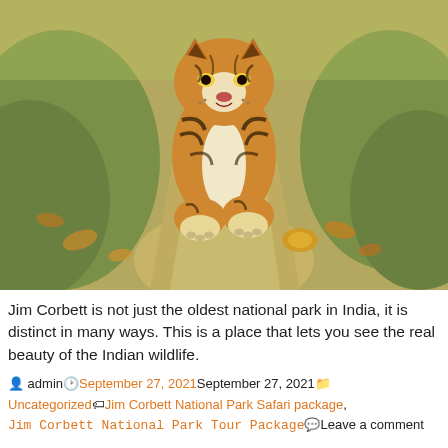[Figure (photo): A tiger walking toward the camera on a dirt path in a national park, with green grass and leaves on either side]
Jim Corbett is not just the oldest national park in India, it is distinct in many ways. This is a place that lets you see the real beauty of the Indian wildlife.
admin  September 27, 2021September 27, 2021  Uncategorized  Jim Corbett National Park Safari package, Jim Corbett National Park Tour Package  Leave a comment